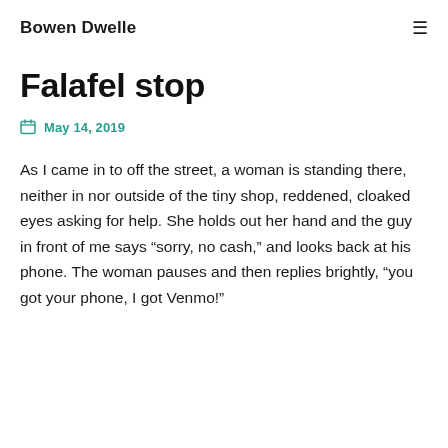Bowen Dwelle
Falafel stop
May 14, 2019
As I came in to off the street, a woman is standing there, neither in nor outside of the tiny shop, reddened, cloaked eyes asking for help. She holds out her hand and the guy in front of me says “sorry, no cash,” and looks back at his phone. The woman pauses and then replies brightly, “you got your phone, I got Venmo!”